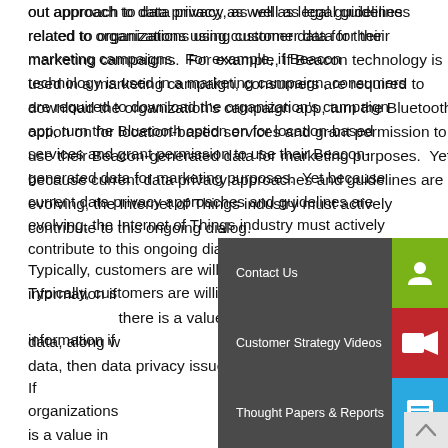out approach to data privacy, as well as legal guidelines related to organizations using customer data for their marketing campaigns.  For example, if Beacon technology is used in a marketing campaign, consumers are required to download the organization's campaign app, turn the Bluetooth option on for location-based services and grant permission to use their Beacon-generated data for marketing purposes.  Yet because current data privacy approaches and guidelines are evolving, the Internet of Things industry must actively contribute to this ongoing dialog.
Typically, customers are willing to grant access to confidential information if there is value resulting.  If organizations can demonstrate there is a value in granting access to confidential data, along with safeguards against abusing the use of such data, then data privacy issues
[Figure (infographic): Navigation overlay with three rows: 'Contact Us' with person icon (green), 'Customer Strategy Videos' with video camera icon (red), 'Thought Papers & Reports' with document icon (blue). Dark grey background for labels, colored squares for icons.]